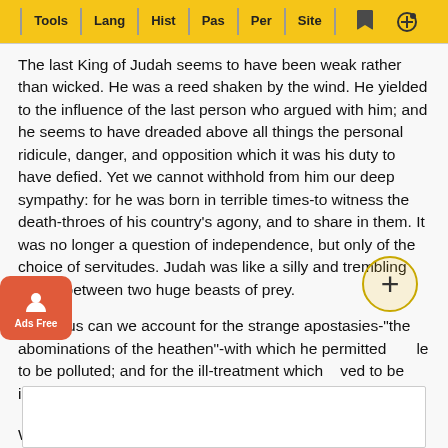Tools | Lang | Hist | Pas | Per | Site
The last King of Judah seems to have been weak rather than wicked. He was a reed shaken by the wind. He yielded to the influence of the last person who argued with him; and he seems to have dreaded above all things the personal ridicule, danger, and opposition which it was his duty to have defied. Yet we cannot withhold from him our deep sympathy: for he was born in terrible times-to witness the death-throes of his country’s agony, and to share in them. It was no longer a question of independence, but only of the choice of servitudes. Judah was like a silly and trembling sheep between two huge beasts of prey.
Only thus can we account for the strange apostasies-"the abominations of the heathen"-with which he permitted his people to be polluted; and for the ill-treatment which he allowed to be inflicted on Jeremiah and other prophets, to whom
What ... nt in